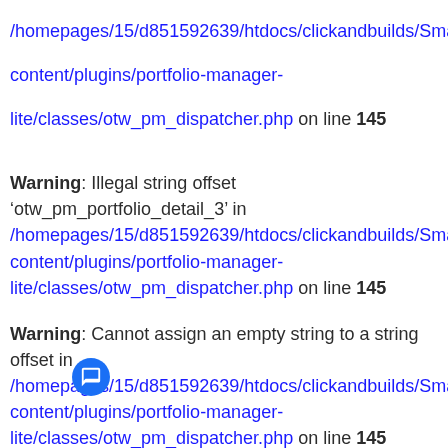/homepages/15/d851592639/htdocs/clickandbuilds/Smartselect-content/plugins/portfolio-manager-lite/classes/otw_pm_dispatcher.php on line 145
Warning: Illegal string offset 'otw_pm_portfolio_detail_3' in /homepages/15/d851592639/htdocs/clickandbuilds/Smartselect-content/plugins/portfolio-manager-lite/classes/otw_pm_dispatcher.php on line 145
Warning: Cannot assign an empty string to a string offset in /homepages/15/d851592639/htdocs/clickandbuilds/Smartselect-content/plugins/portfolio-manager-lite/classes/otw_pm_dispatcher.php on line 145
Warning: Illegal string offset 'otw_pm_portfolio_detail_4' in /homepages/15/d851592639/htdocs/clickandbuilds/Smartselect-content/plugins/portfolio-manager-lite/classes/otw_pm_dispatcher.php on line 145